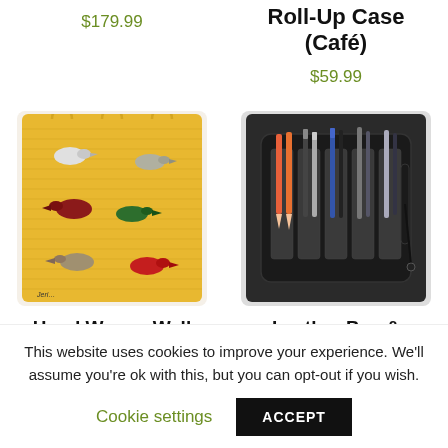$179.99
Roll-Up Case (Café)
$59.99
[Figure (photo): Hand woven wall hanging on yellow background with colorful birds]
[Figure (photo): Black leather pen and pencil roll case open showing multiple pens and pencils]
Hand Woven Wall Hangings – Paloma Series
Leather Pen & Pencil Roll | Multifunctional
This website uses cookies to improve your experience. We'll assume you're ok with this, but you can opt-out if you wish.
Cookie settings
ACCEPT